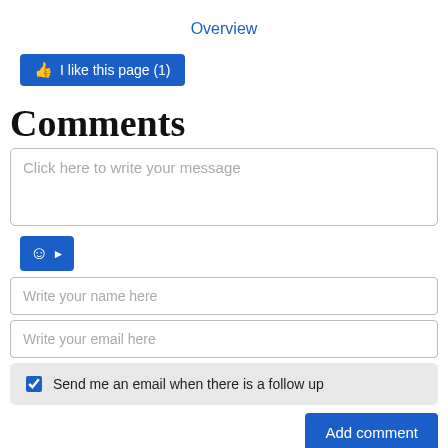Overview
[Figure (screenshot): Blue 'I like this page (1)' button with thumbs up icon]
Comments
Click here to write your message
[Figure (other): Blue emoji/smiley button with arrow]
Write your name here
Write your email here
Send me an email when there is a follow up
Add comment